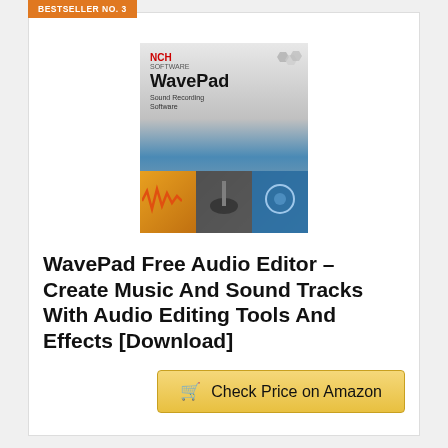BESTSELLER NO. 3
[Figure (photo): WavePad Sound Recording Software product box image showing NCH logo, WavePad title, and panels with sound wave, guitar, and studio images]
WavePad Free Audio Editor – Create Music And Sound Tracks With Audio Editing Tools And Effects [Download]
Check Price on Amazon